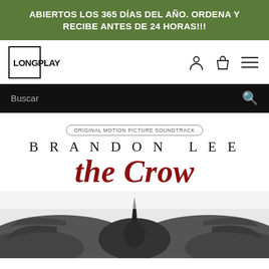ABIERTOS LOS 365 DÍAS DEL AÑO. ORDENA Y RECIBE ANTES DE 24 HORAS!!!
[Figure (logo): LongPlay store logo: a square outline with LONGPLAY text]
Buscar
[Figure (illustration): Album cover for The Crow Original Motion Picture Soundtrack featuring Brandon Lee. Text reads ORIGINAL MOTION PICTURE SOUNDTRACK at top in a rounded rectangle, BRANDON LEE in spaced serif letters, THE CROW in large red italic gothic font, and a black-and-white illustration of a crow with wings spread at the bottom.]